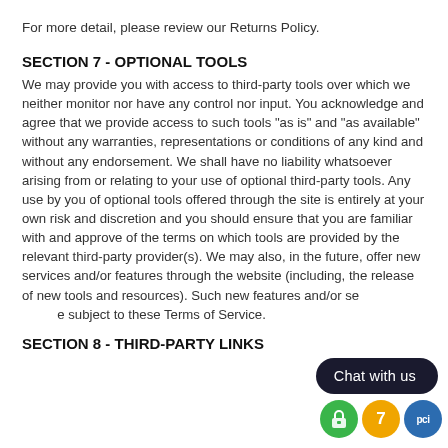For more detail, please review our Returns Policy.
SECTION 7 - OPTIONAL TOOLS
We may provide you with access to third-party tools over which we neither monitor nor have any control nor input. You acknowledge and agree that we provide access to such tools “as is” and “as available” without any warranties, representations or conditions of any kind and without any endorsement. We shall have no liability whatsoever arising from or relating to your use of optional third-party tools. Any use by you of optional tools offered through the site is entirely at your own risk and discretion and you should ensure that you are familiar with and approve of the terms on which tools are provided by the relevant third-party provider(s). We may also, in the future, offer new services and/or features through the website (including, the release of new tools and resources). Such new features and/or services shall also be subject to these Terms of Service.
SECTION 8 - THIRD-PARTY LINKS